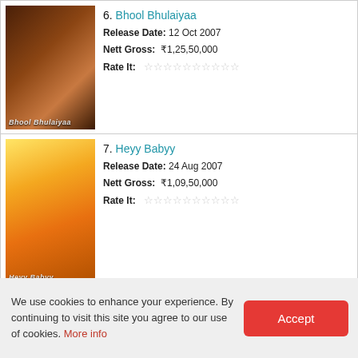6. Bhool Bhulaiyaa — Release Date: 12 Oct 2007 — Nett Gross: ₹1,25,50,000
7. Heyy Babyy — Release Date: 24 Aug 2007 — Nett Gross: ₹1,09,50,000
8. Guru — Release Date: 12 Jan 2007 — Nett Gross: ₹1,00,00,000
9. Ta Ra Rum Pum — Release Date: 27 Apr 2007
We use cookies to enhance your experience. By continuing to visit this site you agree to our use of cookies. More info